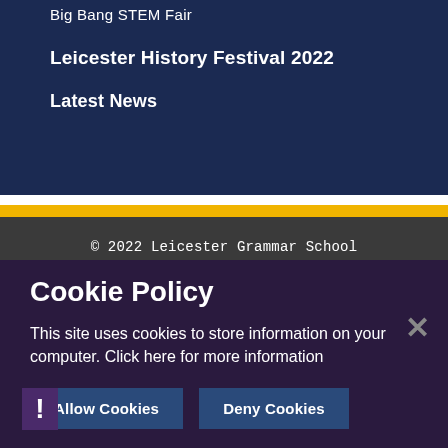Big Bang STEM Fair
Leicester History Festival 2022
Latest News
© 2022 Leicester Grammar School
School Website Design by e4education
Cookie Policy
This site uses cookies to store information on your computer. Click here for more information
Allow Cookies
Deny Cookies